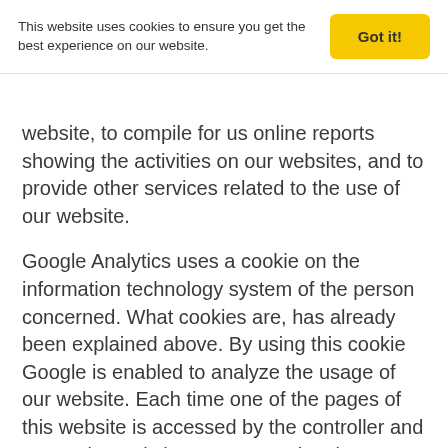This website uses cookies to ensure you get the best experience on our website.   Got it!
website, to compile for us online reports showing the activities on our websites, and to provide other services related to the use of our website.
Google Analytics uses a cookie on the information technology system of the person concerned. What cookies are, has already been explained above. By using this cookie Google is enabled to analyze the usage of our website. Each time one of the pages of this website is accessed by the controller and a Google Analytics component has been integrated, the Internet browser on the information technology system of the person concerned is automatically initiated by the respective Google Analytics component to submit data to Google for online analysis purposes. As part of this technical